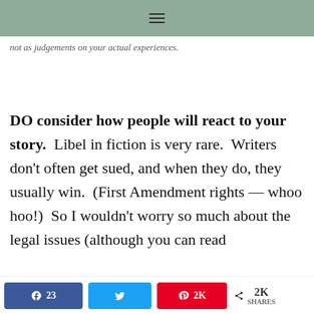≡
not as judgements on your actual experiences.
DO consider how people will react to your story.  Libel in fiction is very rare.  Writers don't often get sued, and when they do, they usually win.  (First Amendment rights — whoo hoo!)  So I wouldn't worry so much about the legal issues (although you can read
23  [Twitter share]  2K  2K SHARES